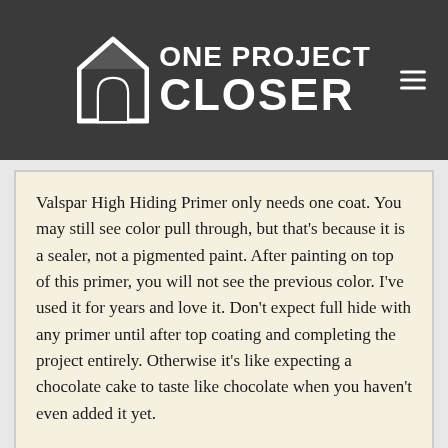[Figure (logo): One Project Closer website logo — white house/arch icon with text 'ONE PROJECT CLOSER' on dark gray header background. Hamburger menu icon at top right.]
Valspar High Hiding Primer only needs one coat. You may still see color pull through, but that's because it is a sealer, not a pigmented paint. After painting on top of this primer, you will not see the previous color. I've used it for years and love it. Don't expect full hide with any primer until after top coating and completing the project entirely. Otherwise it's like expecting a chocolate cake to taste like chocolate when you haven't even added it yet.
[Figure (photo): Bottom portion of page showing a user avatar placeholder, partial commenter name, partial date text starting with 'Februa...', and an advertisement banner for Pick n Pay featuring 'Everyday Exceptional' text, Any 3 for R39 badge, Simba Potato Chips imagery, and a 'SEE DEALS' button.]